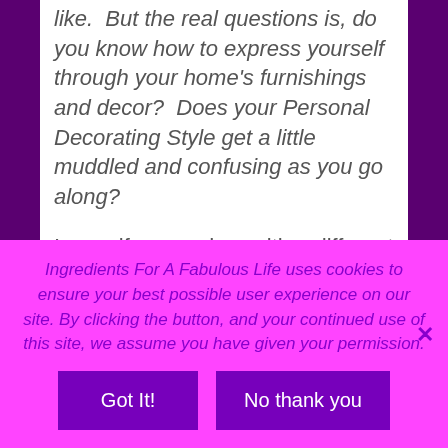like.  But the real questions is, do you know how to express yourself through your home's furnishings and decor?  Does your Personal Decorating Style get a little muddled and confusing as you go along?
I myself can end up with a different result to my Personal Decorating Style Profile Quiz, depending on the season!  If it's Mid-March, I might be mooning over the crisp primary colors of a Summer nautical décor.  Or in Fall, I could be dreaming of fur throws tossed over an ottoman in front of the fire.
Ingredients For A Fabulous Life uses cookies to ensure your best possible user experience on our site. By clicking the button, and your continued use of this site, we assume you have given your permission.